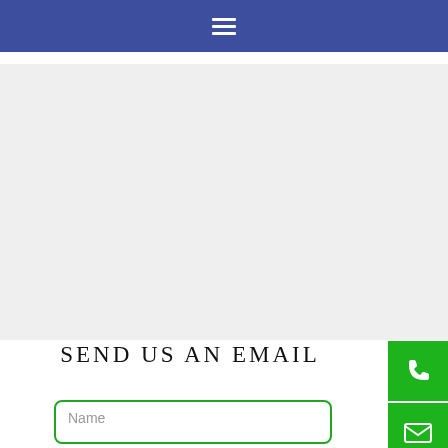Navigation bar with hamburger menu icon
[Figure (screenshot): Gray map placeholder area]
[Figure (infographic): Green side buttons: phone icon, email envelope icon, Facebook f icon]
SEND US AN EMAIL
Name (form input field)